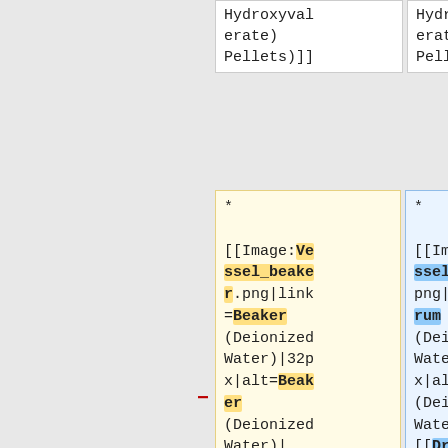Hydroxyvalerate) Pellets)]]
Hydroxyvalerate) Pellets)]]
* [[Image:Vessel_beaker.png|link=Beaker (Deionized Water)|32px|alt=Beaker (Deionized Water)| [[Beaker (Deionized Water)|Beaker (Deionized Water)]]]]
[[Beaker (Deionized Water)|...
* [[Image:Vessel_drum.png|link=Drum (Deionized Water)|32px|alt=Drum (Deionized Water)| [[Drum (Deionized Water)|Drum (Deionized Water)]]]] [[Drum (Deionized Water)|...